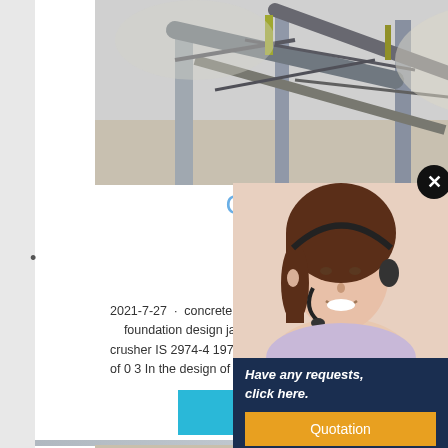[Figure (photo): Industrial stone crusher / conveyor belt machinery at a mining or quarry site, aerial/angled view in muted grey and tan tones]
Concrete Foundation Design Crusher
2021-7-27 · concrete foundation design jaw crusher. foundation design jaw crusher. concrete foundation crusher IS 2974-4 1979 Code of practice for design a of 0 3 In the design of foundations for rotary machine
[Figure (screenshot): CHAT ONLINE teal button]
[Figure (photo): Popup with woman wearing headset (customer service), Have any requests click here., Quotation button, Enquiry, limingjlmofen@sina.com]
[Figure (photo): Partial bottom image strip showing vintage/historical industrial scene]